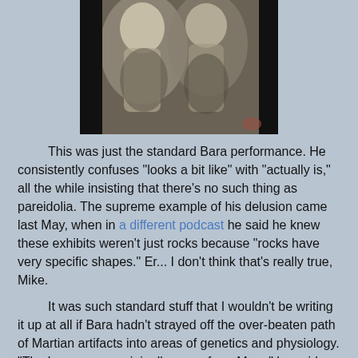[Figure (photo): Blurry black and white photograph showing two indistinct humanoid or rock-like shapes against a dark background, referenced in context of Martian artifact claims.]
This was just the standard Bara performance. He consistently confuses "looks a bit like" with "actually is," all the while insisting that there's no such thing as pareidolia. The supreme example of his delusion came last May, when in a different podcast he said he knew these exhibits weren't just rocks because "rocks have very specific shapes." Er... I don't think that's really true, Mike.
It was such standard stuff that I wouldn't be writing it up at all if Bara hadn't strayed off the over-beaten path of Martian artifacts into areas of genetics and physiology. "The human race originally came from Mars," he said, and